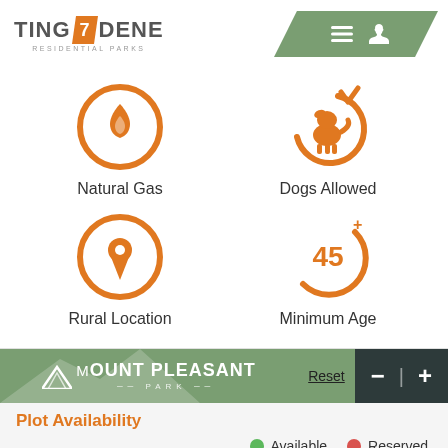[Figure (logo): Tingdene Residential Parks logo with orange arrow 7 shape]
[Figure (infographic): Four icons: Natural Gas (flame in circle), Dogs Allowed (dog silhouette in circle with checkmark), Rural Location (map pin in circle), Minimum Age 45+ (text in partial circle arc)]
Natural Gas
Dogs Allowed
Rural Location
Minimum Age
[Figure (screenshot): Mount Pleasant Park banner with green background and mountain graphic, Reset button, zoom minus and plus controls]
Plot Availability
Reset
Available
Reserved